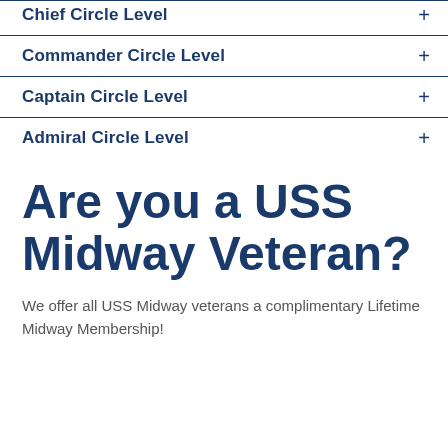Chief Circle Level +
Commander Circle Level +
Captain Circle Level +
Admiral Circle Level +
Are you a USS Midway Veteran?
We offer all USS Midway veterans a complimentary Lifetime Midway Membership!